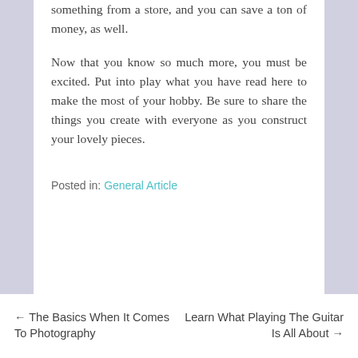something from a store, and you can save a ton of money, as well.
Now that you know so much more, you must be excited. Put into play what you have read here to make the most of your hobby. Be sure to share the things you create with everyone as you construct your lovely pieces.
Posted in: General Article
← The Basics When It Comes To Photography    Learn What Playing The Guitar Is All About →